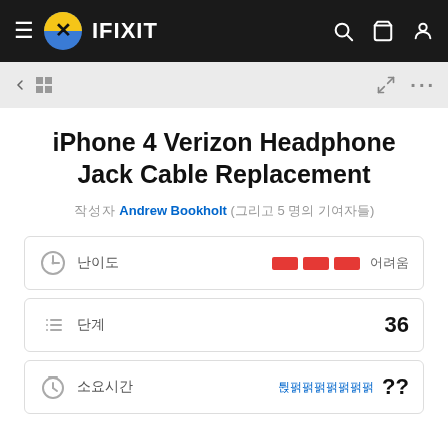iFixit navigation bar with logo
← [back] [grid icon] ... [expand] [more]
iPhone 4 Verizon Headphone Jack Cable Replacement
작성자 Andrew Bookholt (그리고 5 명의 기여자들)
| Icon | Label | Value |
| --- | --- | --- |
| clock icon | 난이도 | 어려움 (3 bars) |
| list icon | 단계 | 36 |
| time icon | 소요시간 | ?? |